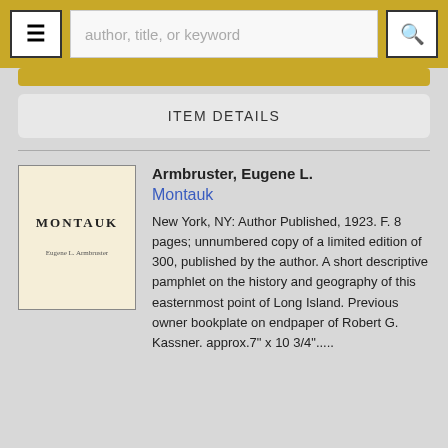≡  author, title, or keyword  🔍
ITEM DETAILS
[Figure (photo): Book cover image of 'Montauk' by Eugene L. Armbruster, showing a plain beige/cream cover with the title MONTAUK in capital letters and an author name below.]
Armbruster, Eugene L.
Montauk
New York, NY: Author Published, 1923. F. 8 pages; unnumbered copy of a limited edition of 300, published by the author. A short descriptive pamphlet on the history and geography of this easternmost point of Long Island. Previous owner bookplate on endpaper of Robert G. Kassner. approx.7" x 10 3/4".....